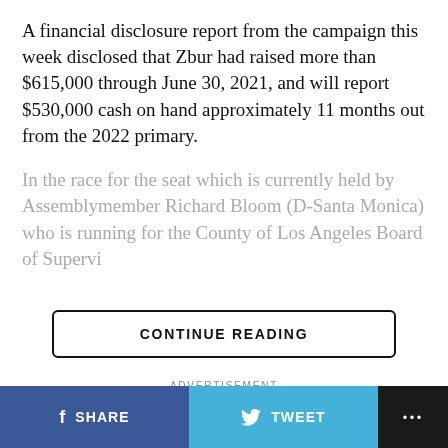A financial disclosure report from the campaign this week disclosed that Zbur had raised more than $615,000 through June 30, 2021, and will report $530,000 cash on hand approximately 11 months out from the 2022 primary.
In the race for the seat which is currently held by Assemblymember Richard Bloom (D-Santa Monica) who is running for the County of Los Angeles Board of Supervi... [faded/obscured] ...ive
CONTINUE READING
ADVERTISEMENT
YOU MAY LIKE
[Figure (photo): Thumbnail image for news article about dangerous heat wave, showing weather map with pink/purple tones]
Dangerous heat wave moves in to SoCal
SHARE   TWEET   ...